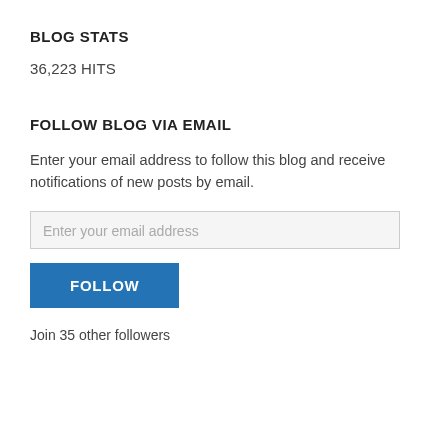BLOG STATS
36,223 HITS
FOLLOW BLOG VIA EMAIL
Enter your email address to follow this blog and receive notifications of new posts by email.
Enter your email address
FOLLOW
Join 35 other followers